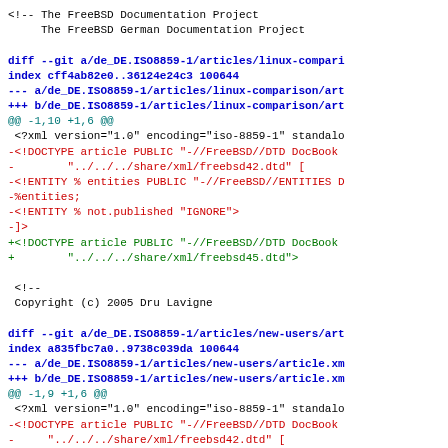<!-- The FreeBSD Documentation Project
     The FreeBSD German Documentation Project
diff --git a/de_DE.ISO8859-1/articles/linux-compari
index cff4ab82e0..36124e24c3 100644
--- a/de_DE.ISO8859-1/articles/linux-comparison/art
+++ b/de_DE.ISO8859-1/articles/linux-comparison/art
@@ -1,10 +1,6 @@
 <?xml version="1.0" encoding="iso-8859-1" standalo
-<!DOCTYPE article PUBLIC "-//FreeBSD//DTD DocBook
-        "../../../share/xml/freebsd42.dtd" [
-<!ENTITY % entities PUBLIC "-//FreeBSD//ENTITIES D
-%entities;
-<!ENTITY % not.published "IGNORE">
-]>
+<!DOCTYPE article PUBLIC "-//FreeBSD//DTD DocBook
+        "../../../share/xml/freebsd45.dtd">

 <!--
 Copyright (c) 2005 Dru Lavigne

diff --git a/de_DE.ISO8859-1/articles/new-users/art
index a835fbc7a0..9738c039da 100644
--- a/de_DE.ISO8859-1/articles/new-users/article.xm
+++ b/de_DE.ISO8859-1/articles/new-users/article.xm
@@ -1,9 +1,6 @@
 <?xml version="1.0" encoding="iso-8859-1" standalo
-<!DOCTYPE article PUBLIC "-//FreeBSD//DTD DocBook
-     "../../../share/xml/freebsd42.dtd" [
-<!ENTITY % entities PUBLIC "-//FreeBSD//ENTITIES